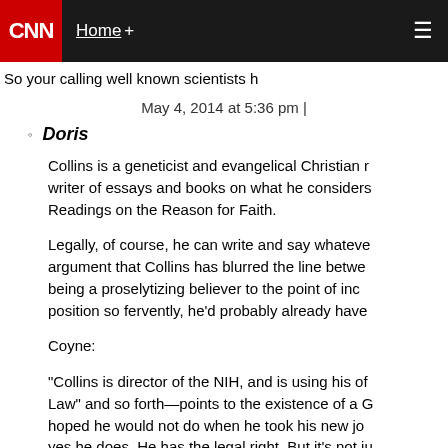CNN | Home + ☰
So your calling well known scientists h
May 4, 2014 at 5:36 pm |
Doris
Collins is a geneticist and evangelical Christian r... writer of essays and books on what he considers... Readings on the Reason for Faith.
Legally, of course, he can write and say whateve... argument that Collins has blurred the line betwe... being a proselytizing believer to the point of inc... position so fervently, he'd probably already have
Coyne:
"Collins is director of the NIH, and is using his of... Law" and so forth—points to the existence of a G... hoped he would not do when he took his new jo... yes he does. He has the legal right. But it's not ju... the also justified base for God t and for